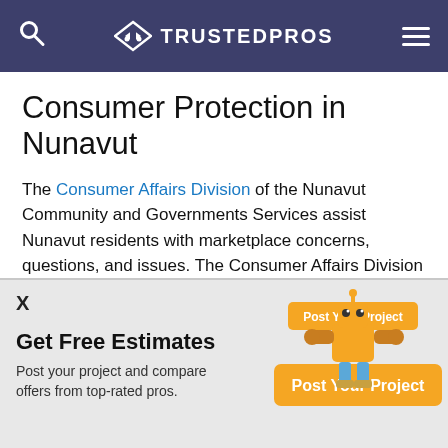TRUSTEDPROS
Consumer Protection in Nunavut
The Consumer Affairs Division of the Nunavut Community and Governments Services assist Nunavut residents with marketplace concerns, questions, and issues. The Consumer Affairs Division helps consumers and businesses mitigate issues. The division will also provide consumers with marketplace awareness and education.
X
Get Free Estimates
Post your project and compare offers from top-rated pros.
[Figure (illustration): Orange robot mascot with 'Post Your Project' button and orange banner saying 'Post Your Project']